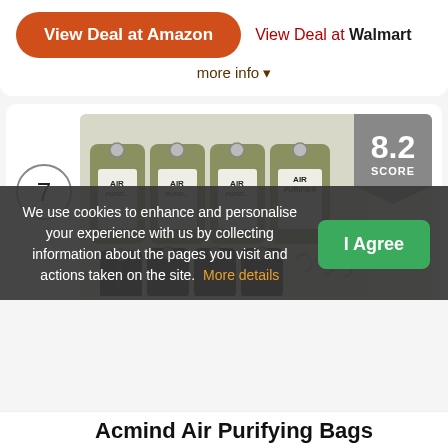[Figure (screenshot): View Deal at Amazon button (orange pill shape) and View Deal at Walmart text link, with 'more info' dropdown below]
[Figure (photo): Acmind Air Purifying Bags product photo showing multiple green bamboo charcoal bags and black bags with hooks, ranked #7 with a score badge of 8.2]
We use cookies to enhance and personalise your experience with us by collecting information about the pages you visit and actions taken on the site. More details
[Figure (screenshot): I Agree green button]
Acmind Air Purifying Bags